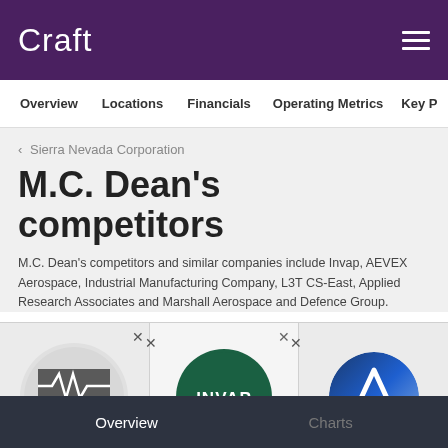Craft
Overview  Locations  Financials  Operating Metrics  Key P
< Sierra Nevada Corporation
M.C. Dean's competitors
M.C. Dean's competitors and similar companies include Invap, AEVEX Aerospace, Industrial Manufacturing Company, L3T CS-East, Applied Research Associates and Marshall Aerospace and Defence Group.
[Figure (logo): MC Dean company logo - grey circular background with stylized waveform graphic and MC DEAN text]
[Figure (logo): INVAP company logo - dark green circle with white INVAP lettering]
[Figure (logo): AEVEX Aerospace company logo - blue gradient circle with white triangle/chevron mark]
Overview  Charts